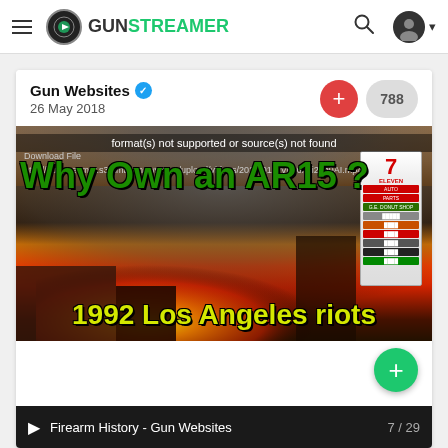GUNSTREAMER
Gun Websites · 26 May 2018
[Figure (screenshot): Video thumbnail showing 1992 Los Angeles riots with building on fire and 7-Eleven sign. Overlaid text reads 'Why Own an AR15 ?' in bold green and '1992 Los Angeles riots' in yellow. Error message 'format(s) not supported or source(s) not found' visible.]
Firearm History - Gun Websites
7 / 29